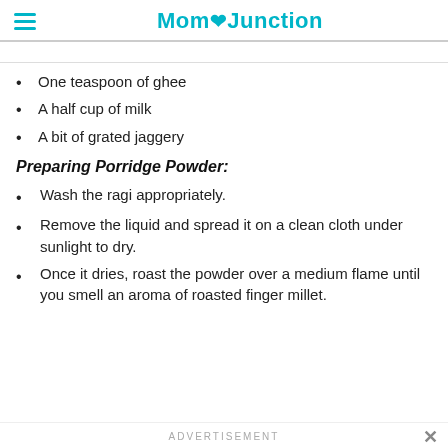MomJunction
[partial line cut off at top]
One teaspoon of ghee
A half cup of milk
A bit of grated jaggery
Preparing Porridge Powder:
Wash the ragi appropriately.
Remove the liquid and spread it on a clean cloth under sunlight to dry.
Once it dries, roast the powder over a medium flame until you smell an aroma of roasted finger millet.
ADVERTISEMENT